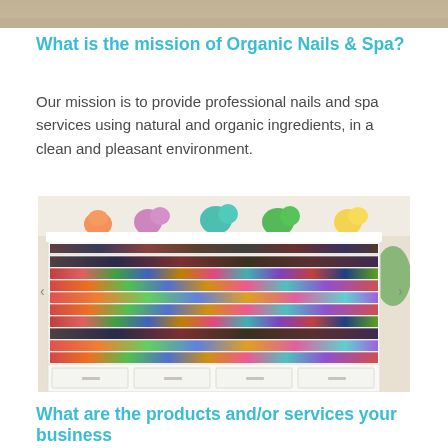[Figure (photo): Top partial banner image of a nail salon interior]
What is the mission of Organic Nails & Spa?
Our mission is to provide professional nails and spa services using natural and organic ingredients, in a clean and pleasant environment.
[Figure (photo): Photo of a large white nail polish display shelf filled with hundreds of colorful nail polish bottles arranged in rows, with colorful decorative flowers on top and white drawers at the bottom.]
What are the products and/or services your business